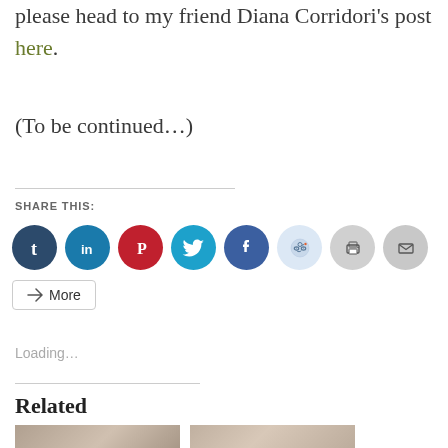please head to my friend Diana Corridori's post here.
(To be continued…)
[Figure (infographic): Social sharing buttons row: Tumblr, LinkedIn, Pinterest, Twitter, Facebook, Reddit, Print, Email icons, plus a More button]
Loading...
Related
[Figure (photo): Two thumbnail images side by side for related posts]